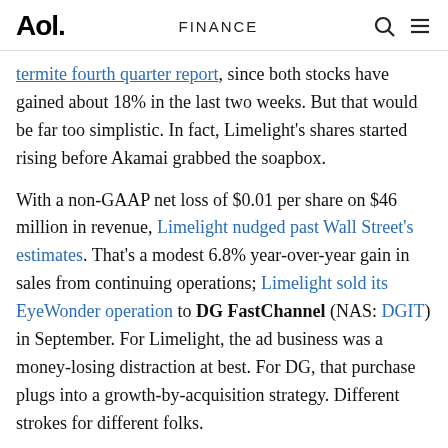Aol. | FINANCE
termite fourth quarter report, since both stocks have gained about 18% in the last two weeks. But that would be far too simplistic. In fact, Limelight's shares started rising before Akamai grabbed the soapbox.
With a non-GAAP net loss of $0.01 per share on $46 million in revenue, Limelight nudged past Wall Street's estimates. That's a modest 6.8% year-over-year gain in sales from continuing operations; Limelight sold its EyeWonder operation to DG FastChannel (NAS: DGIT) in September. For Limelight, the ad business was a money-losing distraction at best. For DG, that purchase plugs into a growth-by-acquisition strategy. Different strokes for different folks.
So Limelight is refocusing on its core operations, including a 55% year-over-year boost to its enterprise cloud storage operations and listings a 160% growth in...